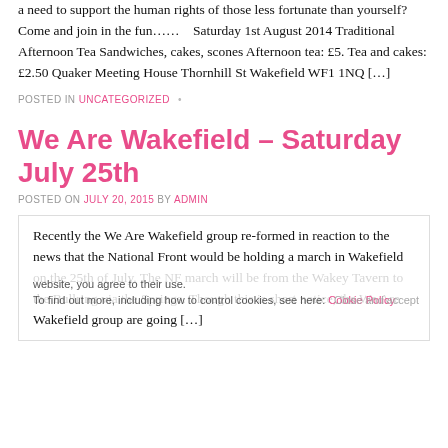a need to support the human rights of those less fortunate than yourself? Come and join in the fun……    Saturday 1st August 2014 Traditional Afternoon Tea Sandwiches, cakes, scones Afternoon tea: £5. Tea and cakes: £2.50 Quaker Meeting House Thornhill St Wakefield WF1 1NQ […]
POSTED IN UNCATEGORIZED •
We Are Wakefield – Saturday July 25th
POSTED ON JULY 20, 2015 BY ADMIN
Recently the We Are Wakefield group re-formed in reaction to the news that the National Front would be holding a march in Wakefield on the 25th of July. The NF march will be from the Wakey Tavern to the Bullring via the Springs. Though this is short notice, the We Are Wakefield group are going […]